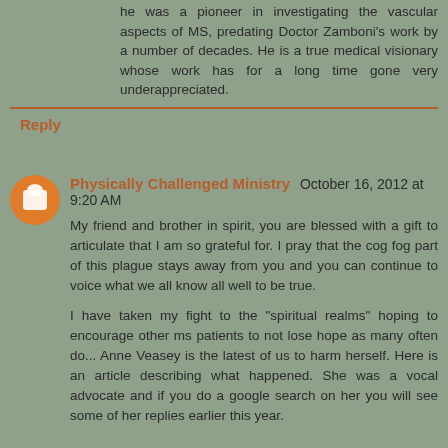he was a pioneer in investigating the vascular aspects of MS, predating Doctor Zamboni's work by a number of decades. He is a true medical visionary whose work has for a long time gone very underappreciated.
Reply
Physically Challenged Ministry October 16, 2012 at 9:20 AM
My friend and brother in spirit, you are blessed with a gift to articulate that I am so grateful for. I pray that the cog fog part of this plague stays away from you and you can continue to voice what we all know all well to be true.
I have taken my fight to the "spiritual realms" hoping to encourage other ms patients to not lose hope as many often do... Anne Veasey is the latest of us to harm herself. Here is an article describing what happened. She was a vocal advocate and if you do a google search on her you will see some of her replies earlier this year.